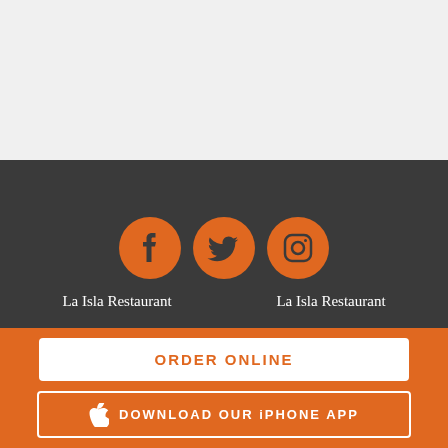[Figure (other): Light gray empty top section background]
[Figure (other): Dark section with three social media icons (Facebook, Twitter, Instagram) in orange circles, and two labels below: La Isla Restaurant on the left and La Isla Restaurant on the right]
La Isla Restaurant
La Isla Restaurant
ORDER ONLINE
DOWNLOAD OUR iPHONE APP